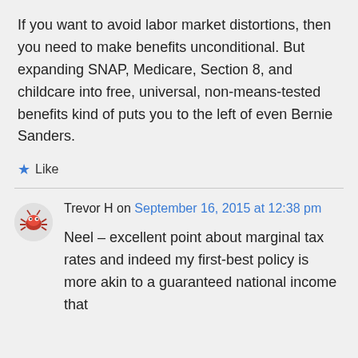If you want to avoid labor market distortions, then you need to make benefits unconditional. But expanding SNAP, Medicare, Section 8, and childcare into free, universal, non-means-tested benefits kind of puts you to the left of even Bernie Sanders.
★ Like
Trevor H on September 16, 2015 at 12:38 pm
Neel – excellent point about marginal tax rates and indeed my first-best policy is more akin to a guaranteed national income that